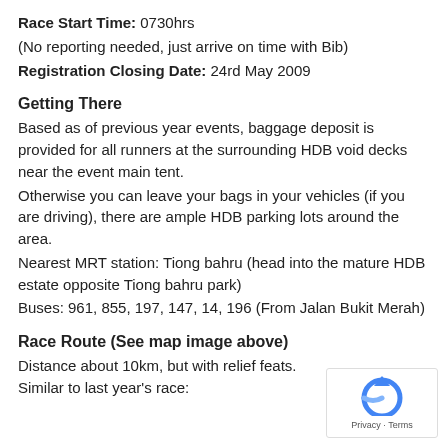Race Start Time: 0730hrs
(No reporting needed, just arrive on time with Bib)
Registration Closing Date: 24rd May 2009
Getting There
Based as of previous year events, baggage deposit is provided for all runners at the surrounding HDB void decks near the event main tent.
Otherwise you can leave your bags in your vehicles (if you are driving), there are ample HDB parking lots around the area.
Nearest MRT station: Tiong bahru (head into the mature HDB estate opposite Tiong bahru park)
Buses: 961, 855, 197, 147, 14, 196 (From Jalan Bukit Merah)
Race Route (See map image above)
Distance about 10km, but with relief feats. Similar to last year's race:
[Figure (logo): reCAPTCHA privacy badge with blue circular arrow icon and Privacy · Terms text]